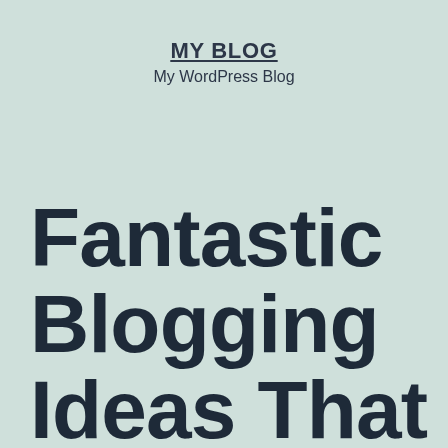MY BLOG
My WordPress Blog
Fantastic Blogging Ideas That You Can